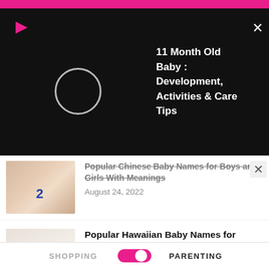[Figure (screenshot): Pink top navigation bar of a parenting website]
[Figure (screenshot): Video overlay panel with play icon, loading circle, and title '11 Month Old Baby : Development, Activities & Care Tips' on black background, with X close button]
11 Month Old Baby : Development, Activities & Care Tips
Popular Chinese Baby Names for Boys and Girls With Meanings — August 24, 2022
Popular Hawaiian Baby Names for Boys and Girls With Meanings — August 24, 2022
Popular German Baby Names for Boys and Girls With Meanings — August 24, 2022
Popular British Baby Names for Boys and...
SHOPPING  PARENTING